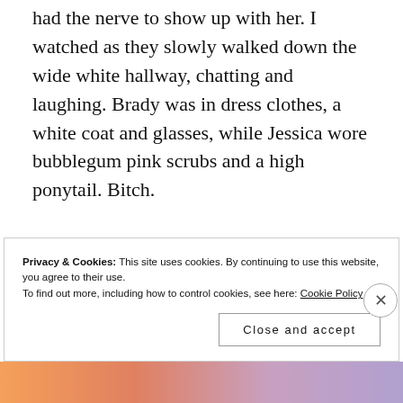had the nerve to show up with her. I watched as they slowly walked down the wide white hallway, chatting and laughing. Brady was in dress clothes, a white coat and glasses, while Jessica wore bubblegum pink scrubs and a high ponytail. Bitch.
“Hey. Thanks so much for coming,” Brady greeted me with a one armed hug.
Privacy & Cookies: This site uses cookies. By continuing to use this website, you agree to their use. To find out more, including how to control cookies, see here: Cookie Policy